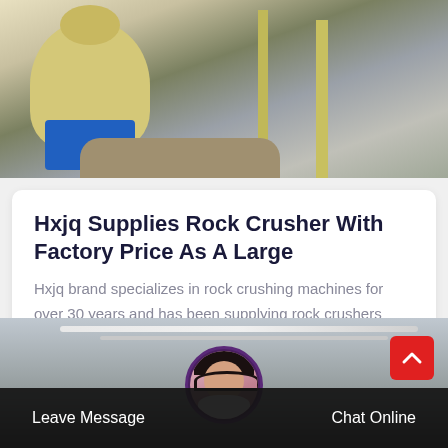[Figure (photo): Industrial rock crusher machine (yellow/green color) on blue base, with metal poles and rubble, inside a factory setting]
Hxjq Supplies Rock Crusher With Factory Price As A Large
Hxjq brand specializes in rock crushing machines for over 30 years and has been supplying rock crushers such as rock jaw...
[Figure (photo): Industrial factory interior showing ceiling structure with fluorescent lighting]
Leave Message
Chat Online